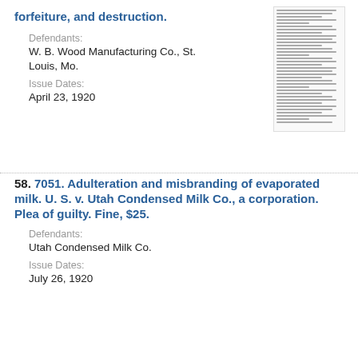forfeiture, and destruction.
Defendants:
W. B. Wood Manufacturing Co., St. Louis, Mo.
Issue Dates:
April 23, 1920
[Figure (photo): Thumbnail image of a government document page]
58. 7051. Adulteration and misbranding of evaporated milk. U. S. v. Utah Condensed Milk Co., a corporation. Plea of guilty. Fine, $25.
Defendants:
Utah Condensed Milk Co.
Issue Dates:
July 26, 1920
[Figure (photo): Thumbnail image of a government document page]